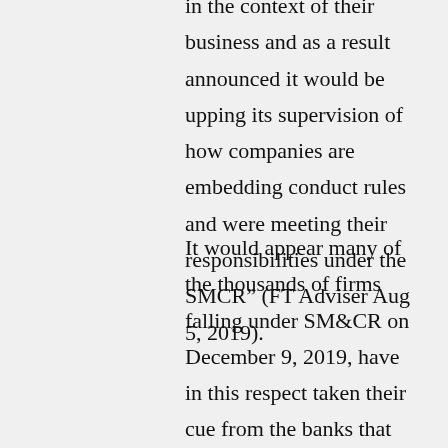in the context of their business and as a result announced it would be upping its supervision of how companies are embedding conduct rules and were meeting their responsibilities under the SMCR” (FT Adviser Aug 5, 2019).
It would appear many of the thousands of firms falling under SM&CR on December 9, 2019, have in this respect taken their cue from the banks that went before them. Having seen little or no material change in the way employee T&C (Training & Competency) is dealt with many have (incorrectly) assumed the regulator isn’t really going to be a “hardass” about